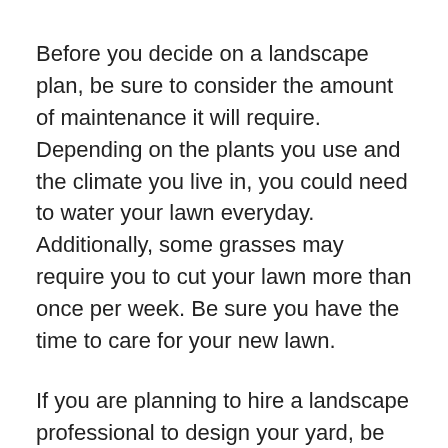Before you decide on a landscape plan, be sure to consider the amount of maintenance it will require. Depending on the plants you use and the climate you live in, you could need to water your lawn everyday. Additionally, some grasses may require you to cut your lawn more than once per week. Be sure you have the time to care for your new lawn.
If you are planning to hire a landscape professional to design your yard, be certain to get a price quote in writing. Many landscapers under-bid a project to get the business and then find they have to ask for more money. If the quote is in writing, they must honor their original price.
Do not pay more than is necessary for your landscaping items. When you shop around, you...